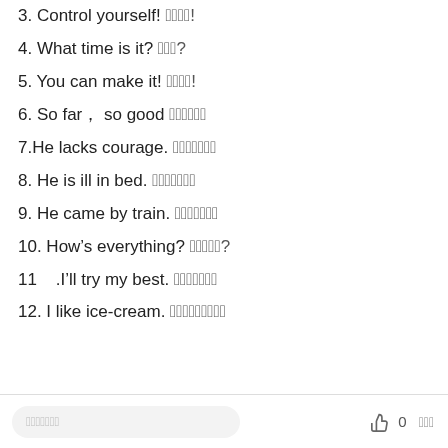3. Control yourself! 자제해라!
4. What time is it? 몇시야?
5. You can make it! 넌할수있어!
6. So far, so good 그럭저럭이야
7.He lacks courage. 그는용기가없다
8. He is ill in bed. 그는앓아누워있다
9. He came by train. 그는기차로왔다
10. How's everything? 어떻게지내?
11   .I'll try my best. 최선을다할게
12. I like ice-cream. 나는아이스크림을좋아해
댓글달기  0  공유